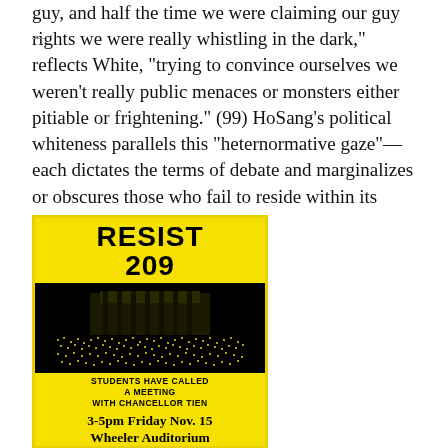guy, and half the time we were claiming our guy rights we were really whistling in the dark," reflects White, "trying to convince ourselves we weren't really public menaces or monsters either pitiable or frightening." (99) HoSang's political whiteness parallels this "heternormative gaze"—each dictates the terms of debate and marginalizes or obscures those who fail to reside within its boundaries.
[Figure (illustration): A black and yellow protest poster reading 'RESIST 209' at the top in large bold text. Below is a black and yellow image of a crowd gathered outside a building. Text reads: 'STUDENTS HAVE CALLED A MEETING WITH CHANCELLOR TIEN'. Bottom section reads: '3-5pm Friday Nov. 15 Wheeler Auditorium TOWN HALL MEETING REGARDING PROP. 209' with a URL at the bottom.]